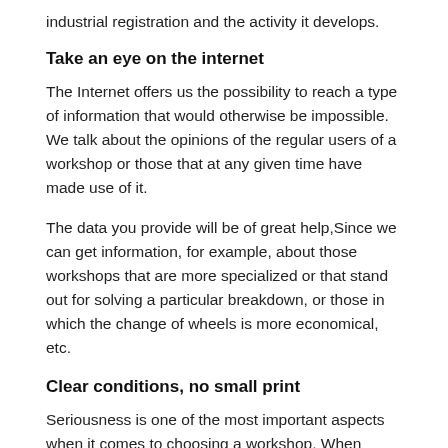industrial registration and the activity it develops.
Take an eye on the internet
The Internet offers us the possibility to reach a type of information that would otherwise be impossible. We talk about the opinions of the regular users of a workshop or those that at any given time have made use of it.
The data you provide will be of great help,Since we can get information, for example, about those workshops that are more specialized or that stand out for solving a particular breakdown, or those in which the change of wheels is more economical, etc.
Clear conditions, no small print
Seriousness is one of the most important aspects when it comes to choosing a workshop. When